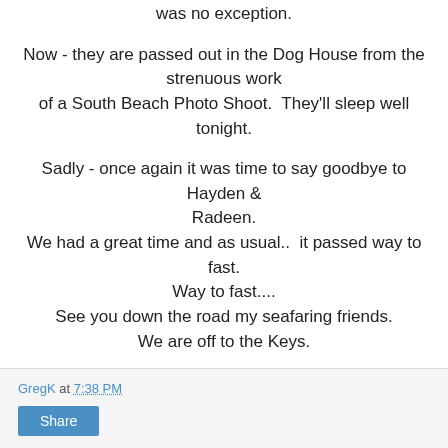was no exception.

Now - they are passed out in the Dog House from the strenuous work
of a South Beach Photo Shoot.  They'll sleep well tonight.

Sadly - once again it was time to say goodbye to Hayden &
Radeen.
We had a great time and as usual..  it passed way to fast.
Way to fast....
See you down the road my seafaring friends.
We are off to the Keys.
GregK at 7:38 PM
Share